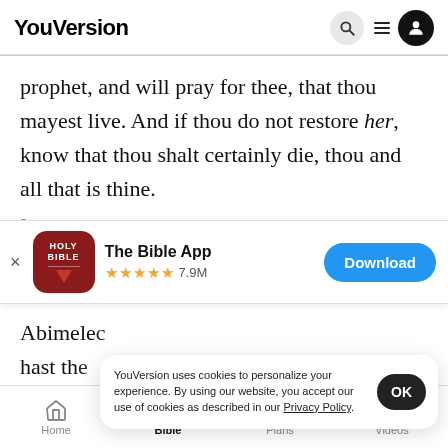YouVersion
prophet, and will pray for thee, that thou mayest live. And if thou do not restore her, know that thou shalt certainly die, thou and all that is thine.
8 And Abimelech rose early in the morning, and
[Figure (screenshot): App download banner for The Bible App with Holy Bible icon, 5-star rating 7.9M reviews, and Download button]
Abimele... hast th...
YouVersion uses cookies to personalize your experience. By using our website, you accept our use of cookies as described in our Privacy Policy.
Home | Bible | Plans | Videos